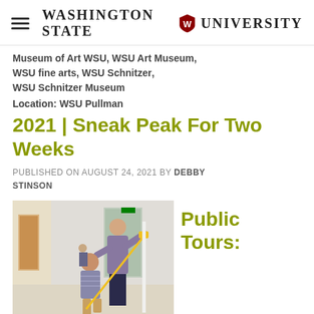Washington State University
Museum of Art WSU, WSU Art Museum, WSU fine arts, WSU Schnitzer, WSU Schnitzer Museum
Location: WSU Pullman
2021 | Sneak Peak For Two Weeks
PUBLISHED ON AUGUST 24, 2021 BY DEBBY STINSON
[Figure (photo): Two people measuring a wall in a museum gallery, using a tape measure. One person is kneeling, the other is standing.]
Public Tours: